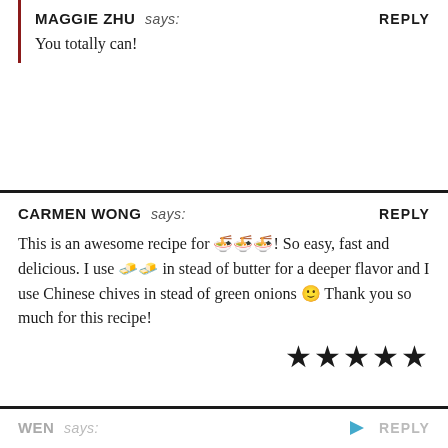MAGGIE ZHU says:   REPLY
You totally can!
CARMEN WONG says:   REPLY
This is an awesome recipe for 🍜🍜🍜! So easy, fast and delicious. I use 🧈🧈 in stead of butter for a deeper flavor and I use Chinese chives in stead of green onions 🙂 Thank you so much for this recipe!
WEN says:   REPLY